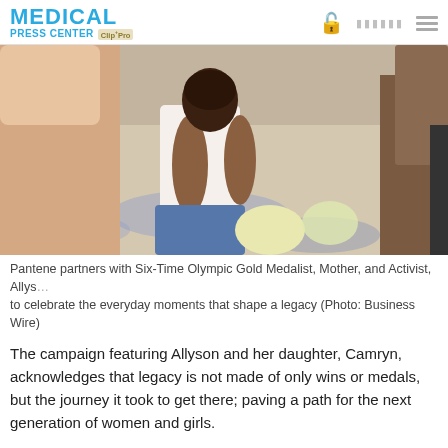MEDICAL PRESS CENTER Clip+Pro
[Figure (photo): Photo of Allyson Felix sitting on a patterned rug with her daughter Camryn, indoors with warm natural light, part of Pantene campaign.]
Pantene partners with Six-Time Olympic Gold Medalist, Mother, and Activist, Allyso... to celebrate the everyday moments that shape a legacy (Photo: Business Wire)
The campaign featuring Allyson and her daughter, Camryn, acknowledges that legacy is not made of only wins or medals, but the journey it took to get there; paving a path for the next generation of women and girls.
“I am thankful to have Pantene in my corner celebrating my legacy during this Olympic run,” said Felix. “After having Camryn, defining my legacy became so much more than my accomplishments on the track. It’s about the moments that shape the next generation.